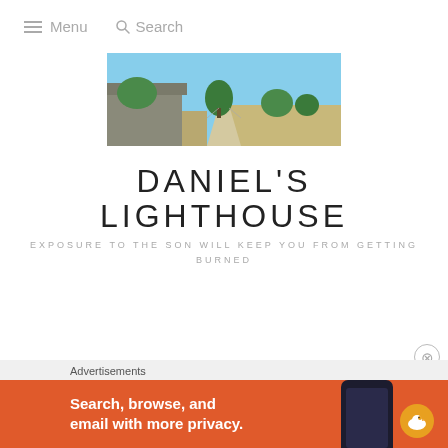≡ Menu  🔍 Search
[Figure (photo): Wide-angle outdoor photo showing a rural path lined with trees, a building on the left, open fields, and a bright blue sky]
DANIEL'S LIGHTHOUSE
EXPOSURE TO THE SON WILL KEEP YOU FROM GETTING BURNED
Advertisements
[Figure (screenshot): DuckDuckGo advertisement banner: 'Search, browse, and email with more privacy.' on an orange background with a phone graphic and DuckDuckGo duck logo]